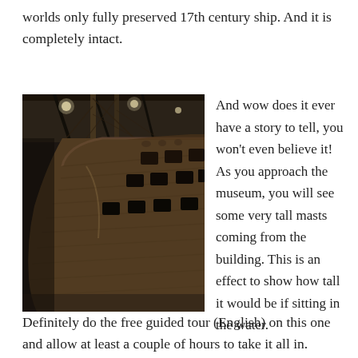worlds only fully preserved 17th century ship. And it is completely intact.
[Figure (photo): Interior museum photograph of the Vasa warship, a large 17th century wooden sailing vessel, showing the hull, masts, rigging, and cannon ports from a low angle inside the museum.]
And wow does it ever have a story to tell, you won't even believe it! As you approach the museum, you will see some very tall masts coming from the building. This is an effect to show how tall it would be if sitting in the water.
Definitely do the free guided tour (English) on this one and allow at least a couple of hours to take it all in. Unlike